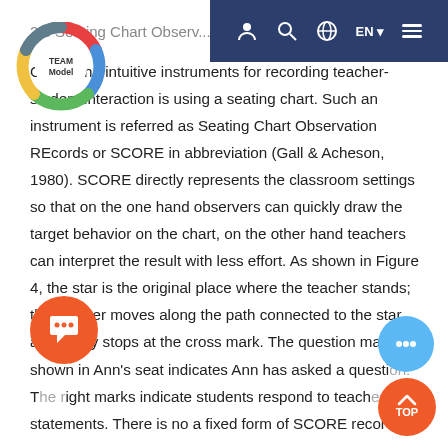2.3 Seating Chart Observation Records (SCORE)
[Figure (logo): TEAM Model donut/ring logo with colored segments (red, blue, green, yellow) and 'TEAM Model' text in center]
One of the intuitive instruments for recording teacher-student interaction is using a seating chart. Such an instrument is referred as Seating Chart Observation REcords or SCORE in abbreviation (Gall & Acheson, 1980). SCORE directly represents the classroom settings so that on the one hand observers can quickly draw the target behavior on the chart, on the other hand teachers can interpret the result with less effort. As shown in Figure 4, the star is the original place where the teacher stands; the teacher moves along the path connected to the star and finally stops at the cross mark. The question mark shown in Ann's seat indicates Ann has asked a question. The right marks indicate students respond to teacher statements. There is no a fixed form of SCORE records.